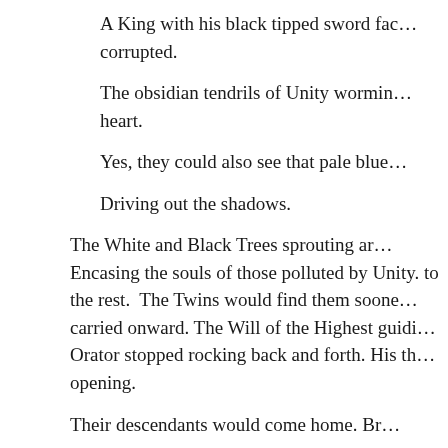A King with his black tipped sword fac... corrupted.
The obsidian tendrils of Unity wormin... heart.
Yes, they could also see that pale blue...
Driving out the shadows.
The White and Black Trees sprouting ar... Encasing the souls of those polluted by Unity. to the rest. The Twins would find them soone... carried onward. The Will of the Highest guidi... Orator stopped rocking back and forth. His th... opening.
Their descendants would come home. Br...
*****